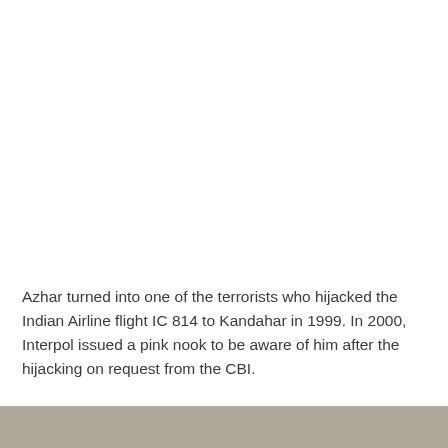Azhar turned into one of the terrorists who hijacked the Indian Airline flight IC 814 to Kandahar in 1999. In 2000, Interpol issued a pink nook to be aware of him after the hijacking on request from the CBI.
[Figure (photo): Partial view of a photograph visible at the bottom of the page, showing a muted grayish-brown tone.]